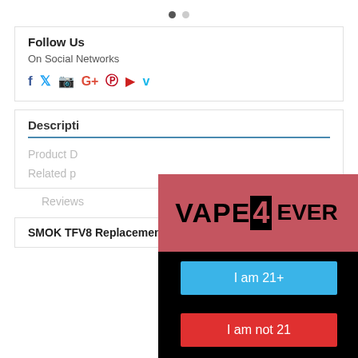[Figure (other): Dot pagination indicator: one filled dot and one empty dot]
Follow Us
On Social Networks
[Figure (infographic): Social media icons row: Facebook (f), Twitter (bird), Instagram (camera), Google+ (G+), Pinterest (P), YouTube (play), Vimeo (V)]
Descripti...
Product D...
Related p...
Reviews
SMOK TFV8 Replacement Pyrex Glass
[Figure (screenshot): Age verification modal overlay on black background with VAPE4EVER logo, blue 'I am 21+' button, and red 'I am not 21' button]